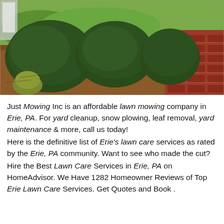[Figure (photo): Outdoor landscaping photo showing trimmed round bushes/shrubs in a mulched garden bed with green lawn in the background and a red brick walkway/path on the right side.]
Just Mowing Inc is an affordable lawn mowing company in Erie, PA. For yard cleanup, snow plowing, leaf removal, yard maintenance & more, call us today!
Here is the definitive list of Erie's lawn care services as rated by the Erie, PA community. Want to see who made the cut?
Hire the Best Lawn Care Services in Erie, PA on HomeAdvisor. We Have 1282 Homeowner Reviews of Top Erie Lawn Care Services. Get Quotes and Book .